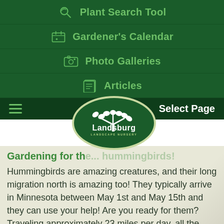Plant Search Tool
Gardener's Calendar
Photo Galleries
Articles
Select Page
[Figure (logo): Landsburg Landscape Nursery logo — white tree/leaves graphic inside a dark green oval with cream border, 'Landsburg' in bold white text, 'LANDSCAPE NURSERY' in small caps below]
Gardening for the... hummingbirds!
Hummingbirds are amazing creatures, and their long migration north is amazing too! They typically arrive in Minnesota between May 1st and May 15th and they can use your help! Are you ready for them? Traveling approximately 23 miles per day, all the way...